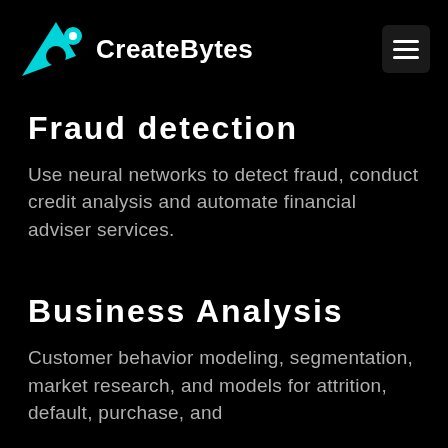CreateBytes
Fraud detection
Use neural networks to detect fraud, conduct credit analysis and automate financial adviser services.
Business Analysis
Customer behavior modeling, segmentation, market research, and models for attrition, default, purchase, and renewals